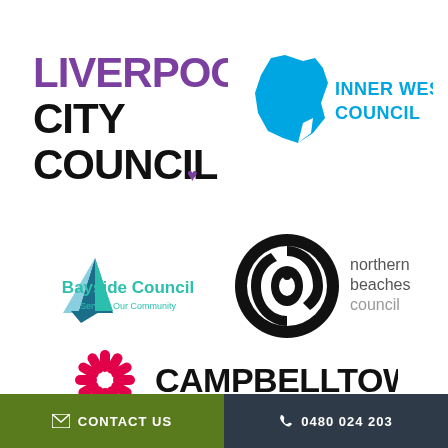[Figure (logo): Liverpool City Council logo — bold black and purple text reading LIVERPOOL CITY COUNCIL with a small purple heart/home icon]
[Figure (logo): Inner West Council logo — blue filled map shape of the Inner West region with INNER WEST COUNCIL text in blue]
[Figure (logo): Bayside Council logo — teal and blue sailboat triangle icon with 'Bayside Council' in teal and 'Serving Our Community' subtitle]
[Figure (logo): Northern Beaches Council logo — black circular emblem with indigenous/animal artwork and 'northern beaches council' text in grey]
[Figure (logo): Campbelltown logo — pink/red starburst pinwheel icon with CAMPBELLTOWN in large bold black text]
✉ CONTACT US   📞 0480 024 203